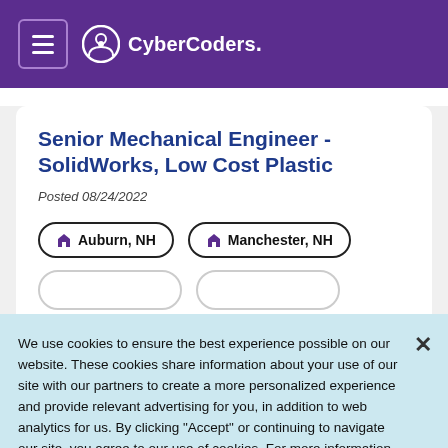CyberCoders.
Senior Mechanical Engineer - SolidWorks, Low Cost Plastic
Posted 08/24/2022
Auburn, NH
Manchester, NH
We use cookies to ensure the best experience possible on our website. These cookies share information about your use of our site with our partners to create a more personalized experience and provide relevant advertising for you, in addition to web analytics for us. By clicking "Accept" or continuing to navigate our site, you agree to our use of cookies. For more information please see our Privacy Policy
Accept All Cookies